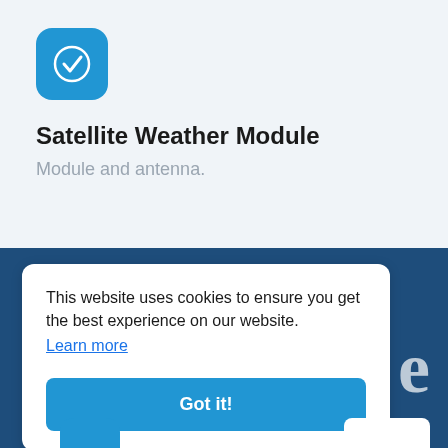[Figure (logo): Blue rounded square app icon with white checkmark circle]
Satellite Weather Module
Module and antenna.
This website uses cookies to ensure you get the best experience on our website. Learn more
Got it!